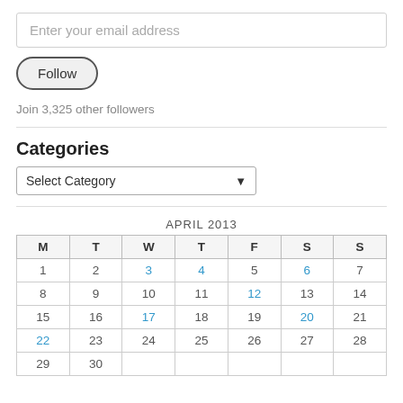Enter your email address
Follow
Join 3,325 other followers
Categories
Select Category
| M | T | W | T | F | S | S |
| --- | --- | --- | --- | --- | --- | --- |
| 1 | 2 | 3 | 4 | 5 | 6 | 7 |
| 8 | 9 | 10 | 11 | 12 | 13 | 14 |
| 15 | 16 | 17 | 18 | 19 | 20 | 21 |
| 22 | 23 | 24 | 25 | 26 | 27 | 28 |
| 29 | 30 |  |  |  |  |  |